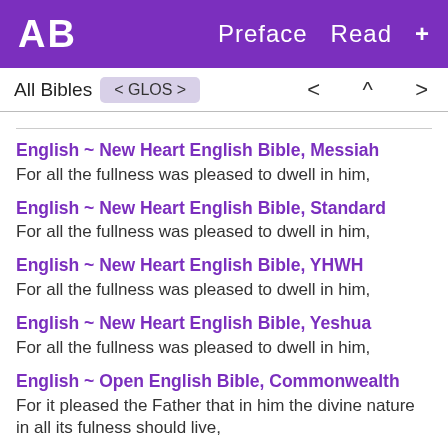AB   Preface  Read  +
All Bibles  < GLOS >   <  ^  >
English ~ New Heart English Bible, Messiah
For all the fullness was pleased to dwell in him,
English ~ New Heart English Bible, Standard
For all the fullness was pleased to dwell in him,
English ~ New Heart English Bible, YHWH
For all the fullness was pleased to dwell in him,
English ~ New Heart English Bible, Yeshua
For all the fullness was pleased to dwell in him,
English ~ Open English Bible, Commonwealth
For it pleased the Father that in him the divine nature in all its fulness should live,